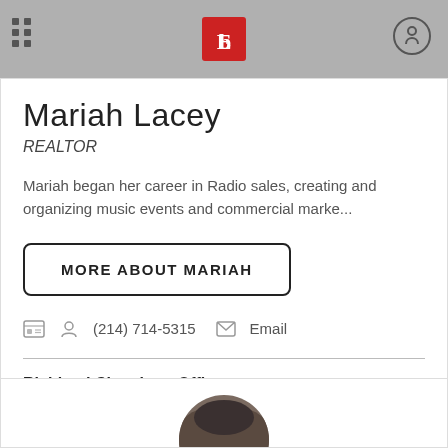Ebby Halliday Realtors logo header
Mariah Lacey
REALTOR
Mariah began her career in Radio sales, creating and organizing music events and commercial marke...
MORE ABOUT MARIAH
(214) 714-5315   Email
Richland Chambers Office
10409 S US HWY 287
Corsicana | TX 75109 | Directions
[Figure (photo): Partial photo of another agent at the bottom of the page]